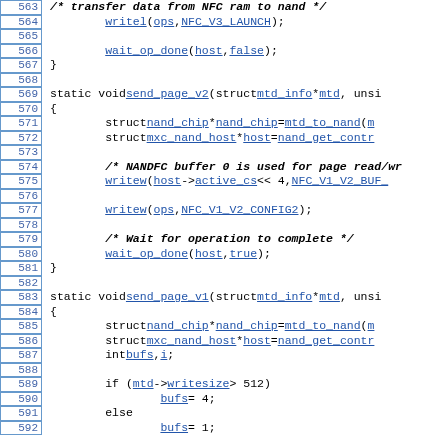[Figure (screenshot): Source code listing showing C functions send_page_v2 and send_page_v1 with line numbers 563-592, featuring NFC NAND flash driver code with hyperlinked identifiers.]